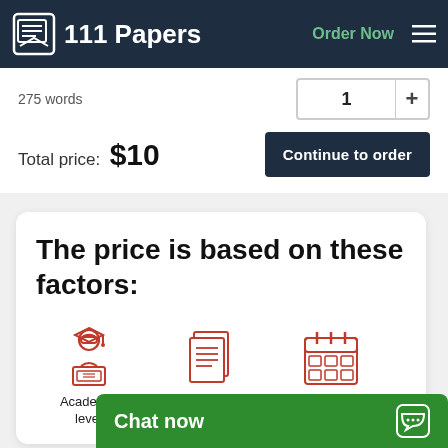111 Papers — Order Now
275 words
Total price: $10
Continue to order
The price is based on these factors:
[Figure (illustration): Three red icons: Academic level (graduation figure at laptop), Number of pages (stacked pages), and a calendar icon]
Academic level
Num... pa...
Chat now